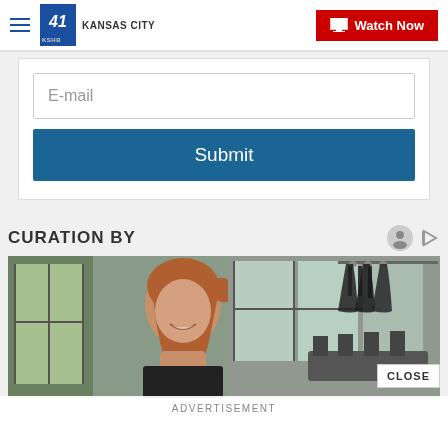41 KSHB KANSAS CITY | Watch Now
E-mail
Submit
CURATION BY
[Figure (photo): A smiling woman with reddish-brown hair in a ponytail in what appears to be a gym or fitness studio with windows and exercise equipment in the background]
ADVERTISEMENT
CLOSE